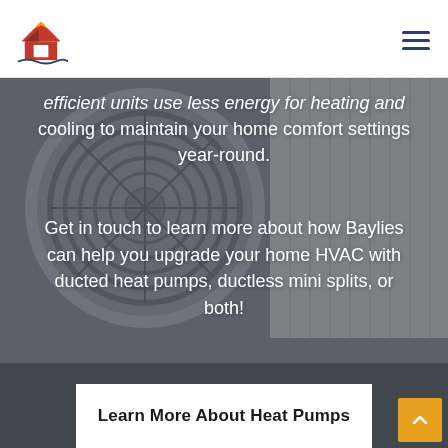Baylies Insulation — navigation header with logo and hamburger menu
[Figure (photo): Close-up photo of an outdoor HVAC unit / heat pump with circular fan grille and white casing, with dark overlay]
efficient units use less energy for heating and cooling to maintain your home comfort settings year-round.
Get in touch to learn more about how Baylies can help you upgrade your home HVAC with ducted heat pumps, ductless mini splits, or both!
Learn More About Heat Pumps